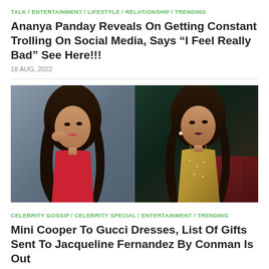TALK / ENTERTAINMENT / LIFESTYLE / RELATIONSHIP / TRENDING
Ananya Panday Reveals On Getting Constant Trolling On Social Media, Says “I Feel Really Bad” See Here!!!
18 AUG, 2022
[Figure (photo): Two female celebrities side by side — left: woman in red outfit with long dark wavy hair and pink lips posed with hand near face against gray background; right: woman in gold sparkly dress with long dark wavy hair and dark lips seated near dark red tufted chair against dark green background]
CELEBRITY GOSSIP / CELEBRITY SPECIAL / ENTERTAINMENT / TRENDING
Mini Cooper To Gucci Dresses, List Of Gifts Sent To Jacqueline Fernandez By Conman Is Out
18 AUG, 2022